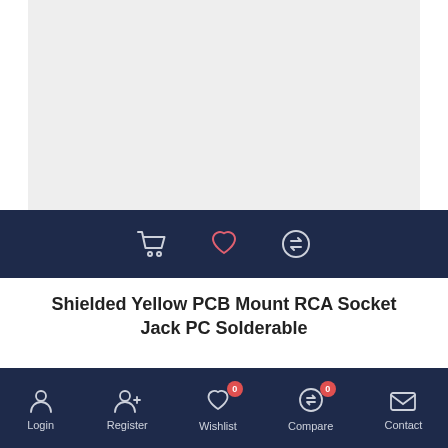[Figure (photo): Product image placeholder - light gray background]
[Figure (other): Action bar with shopping cart, wishlist heart, and compare icons on dark navy background]
Shielded Yellow PCB Mount RCA Socket Jack PC Solderable
₱10.00
[Figure (other): Loading spinner icon in pink/salmon color]
[Figure (other): Bottom navigation bar with Login, Register, Wishlist (0), Compare (0), Contact icons on dark navy background]